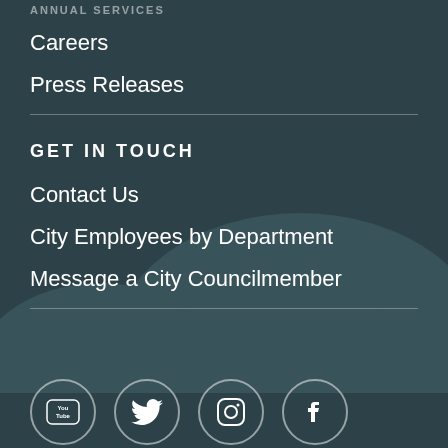Careers
Press Releases
GET IN TOUCH
Contact Us
City Employees by Department
Message a City Councilmember
[Figure (illustration): Four social media icons in circles at bottom: YouTube, Twitter, Instagram, Facebook]